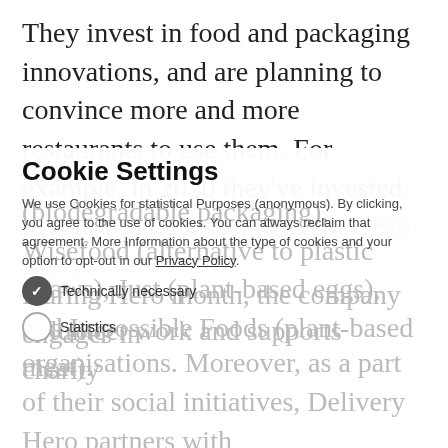They invest in food and packaging innovations, and are planning to convince more and more restaurants to use them. For example, in 2020 they've invested in four promising innovations: Bio-lutions (biodegradable packaging), Wisefood (alternative to plastic straws), Just (plant-based eggs), and Impossible Foods (plant-based meat).
Cookie Settings
We use Cookies for statistical Purposes (anonymous). By clicking, you agree to the use of cookies. You can always reclaim that agreement. More Information about the type of cookies and your option to opt-out in our Privacy Policy.
✓ Technically necessary
○ Statistics
During Hero month, the company engages in volunteer work and supports charity organisations. Moreover, as a part of their social initiatives, Delivery Hero partners with WFP and ShareTheMeal to fight hunger and help the most vulnerable. Niklas Östberg